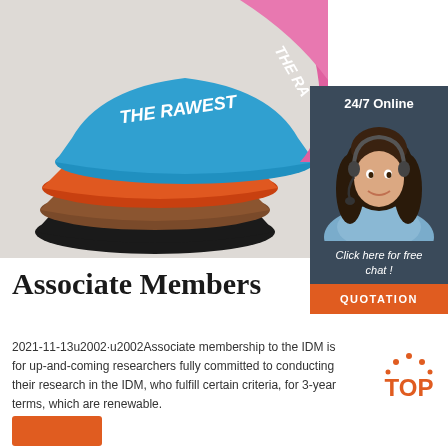[Figure (photo): Stack of colorful bucket hats (blue, pink, orange, brown, black) with 'THE RAWEST' text on them, on a light gray background]
[Figure (photo): Sidebar panel with dark teal background showing '24/7 Online' text, photo of a customer service agent woman with headset, 'Click here for free chat!' text, and an orange QUOTATION button]
Associate Members
2021-11-13  Associate membership to the IDM is for up-and-coming researchers fully committed to conducting their research in the IDM, who fulfill certain criteria, for 3-year terms, which are renewable.